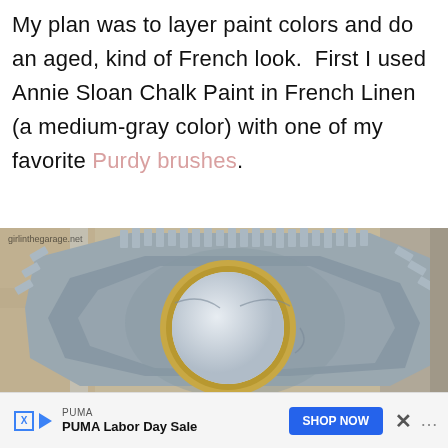My plan was to layer paint colors and do an aged, kind of French look.  First I used Annie Sloan Chalk Paint in French Linen (a medium-gray color) with one of my favorite Purdy brushes.
[Figure (photo): A decorative octagonal mirror frame painted in medium gray chalk paint (French Linen color), showing the ornate serrated/ruffled outer edge of the frame and a partial view of the round mirror with a gold inner ring. The frame is photographed on a brown cardboard background. Watermark reads 'girlinthegarage.net'.]
PUMA
PUMA Labor Day Sale
SHOP NOW